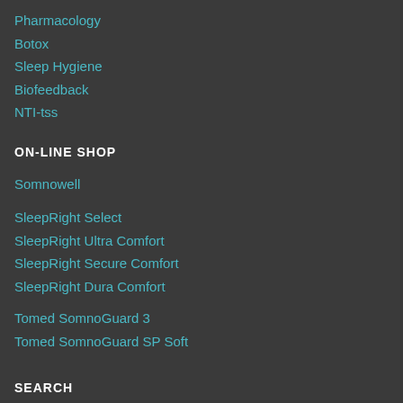Pharmacology
Botox
Sleep Hygiene
Biofeedback
NTI-tss
ON-LINE SHOP
Somnowell
SleepRight Select
SleepRight Ultra Comfort
SleepRight Secure Comfort
SleepRight Dura Comfort
Tomed SomnoGuard 3
Tomed SomnoGuard SP Soft
SEARCH